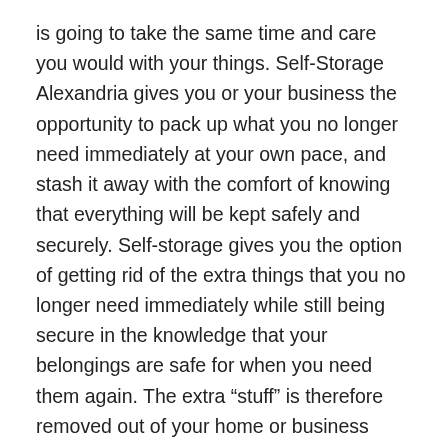is going to take the same time and care you would with your things. Self-Storage Alexandria gives you or your business the opportunity to pack up what you no longer need immediately at your own pace, and stash it away with the comfort of knowing that everything will be kept safely and securely. Self-storage gives you the option of getting rid of the extra things that you no longer need immediately while still being secure in the knowledge that your belongings are safe for when you need them again. The extra “stuff” is therefore removed out of your home or business without the stress of having it around during a renovation or a move. You can then focus on what truly matters – the task at hand. Simply call up Self-Storage Alexandria and we can drop off a TAXIBOX to whatever address you need it at. Pack it up at your own pace, and give us a call when you want us to take it to our mobile facility at Self-Storage Alexandria.